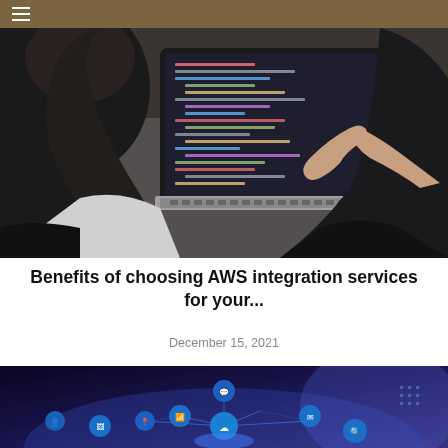≡
[Figure (photo): Two women looking at a laptop screen showing code, viewed from behind. One woman is pointing at the screen.]
Benefits of choosing AWS integration services for your...
December 15, 2021
[Figure (photo): Dark background with glowing blue digital icons representing cloud, chat, email, wifi, location pin, search, and other technology services connected by lines, suggesting an integration or IoT concept.]